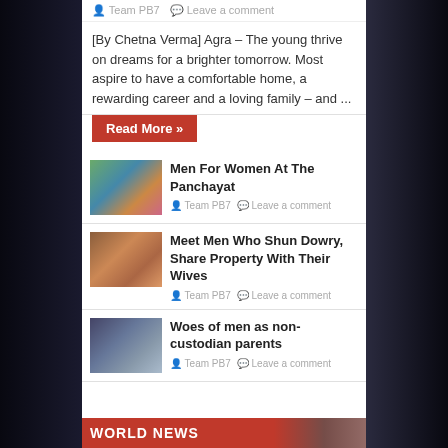Team PB7   Leave a comment
[By Chetna Verma] Agra – The young thrive on dreams for a brighter tomorrow. Most aspire to have a comfortable home, a rewarding career and a loving family – and ...
Read More »
Men For Women At The Panchayat
Team PB7   Leave a comment
Meet Men Who Shun Dowry, Share Property With Their Wives
Team PB7   Leave a comment
Woes of men as non-custodian parents
Team PB7   Leave a comment
WORLD NEWS